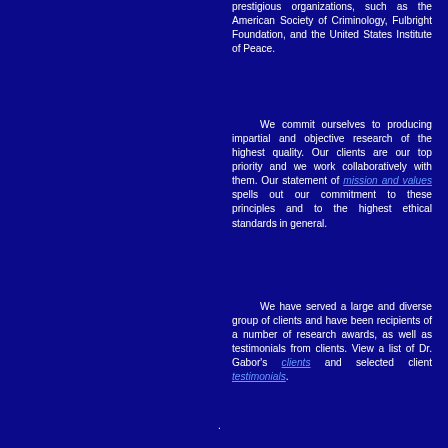prestigious organizations, such as the American Society of Criminology, Fulbright Foundation, and the United States Institute of Peace.
We commit ourselves to producing impartial and objective research of the highest quality. Our clients are our top priority and we work collaboratively with them. Our statement of mission and values spells out our commitment to these principles and to the highest ethical standards in general.
We have served a large and diverse group of clients and have been recipients of a number of research awards, as well as testimonials from clients. View a list of Dr. Gabor's clients and selected client testimonials.